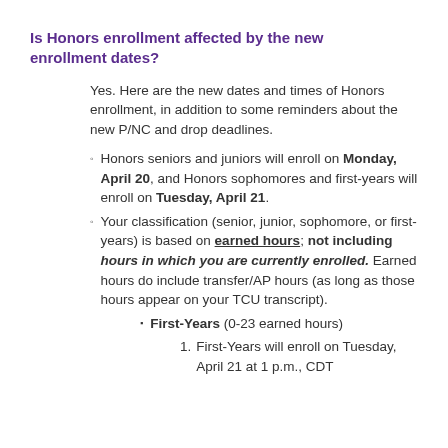Is Honors enrollment affected by the new enrollment dates?
Yes. Here are the new dates and times of Honors enrollment, in addition to some reminders about the new P/NC and drop deadlines.
Honors seniors and juniors will enroll on Monday, April 20, and Honors sophomores and first-years will enroll on Tuesday, April 21.
Your classification (senior, junior, sophomore, or first-years) is based on earned hours; not including hours in which you are currently enrolled. Earned hours do include transfer/AP hours (as long as those hours appear on your TCU transcript).
First-Years (0-23 earned hours)
First-Years will enroll on Tuesday, April 21 at 1 p.m., CDT